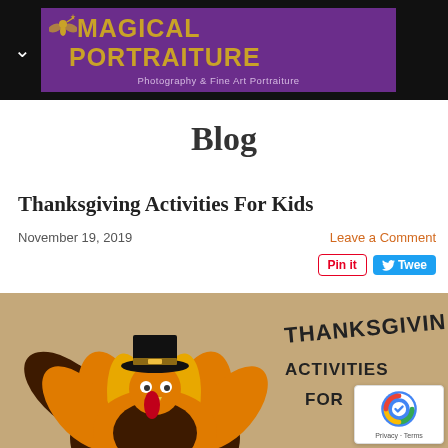[Figure (logo): Magical Portraiture logo on purple banner with gold fairy silhouette and text 'Photography & Fine Art Portraiture']
Blog
Thanksgiving Activities For Kids
November 19, 2019
Leave a Comment
[Figure (photo): Thanksgiving themed image showing a felt turkey craft with pilgrim hat and the text 'Thanksgiving Activities For Kids' on a brown background]